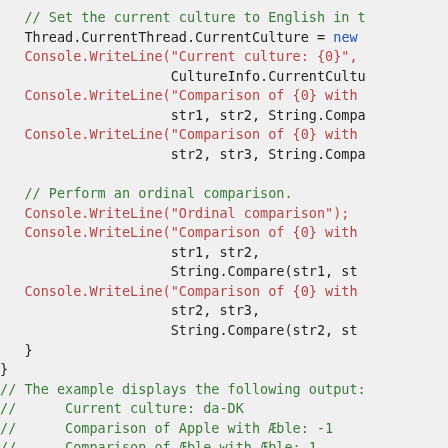[Figure (screenshot): Code snippet in C# showing string comparison using Thread.CurrentThread.CurrentCulture, Console.WriteLine with culture-specific and ordinal comparisons, and example output comments.]